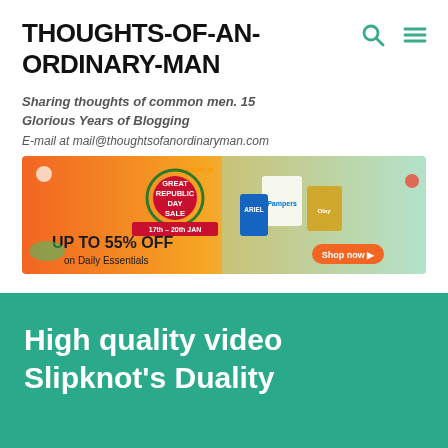THOUGHTS-OF-AN-ORDINARY-MAN
Sharing thoughts of common men. 15 Glorious Years of Blogging
E-mail at mail@thoughtsofanordinaryman.com
[Figure (photo): Amazon Great Republic Day Sale banner - UP TO 55% OFF on Daily Essentials, 17th-20th JAN, showing Pampers, Ariel and other products, Shop now button]
High quality video Slipknot's Duality